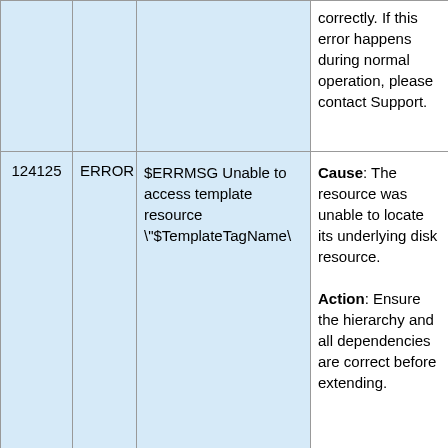|  |  |  |  |
| --- | --- | --- | --- |
|  |  |  | correctly. If this error happens during normal operation, please contact Support. |
| 124125 | ERROR | $ERRMSG Unable to access template resource "$TemplateTagName\ | Cause: The resource was unable to locate its underlying disk resource.

Action: Ensure the hierarchy and all dependencies are correct before extending. |
| 124126 | ERROR | unextmgr failure on machine ""$PRIMACH"\ | Cause: The cleanup, after a failed resource |